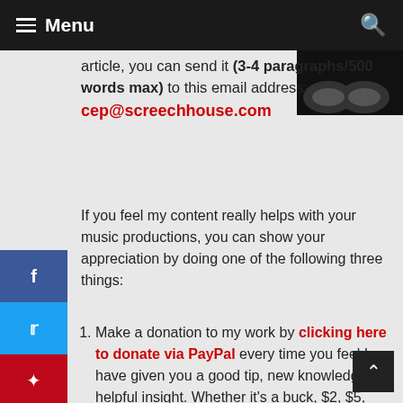Menu
article, you can send it (3-4 paragraphs/500 words max) to this email address: cep@screechhouse.com
If you feel my content really helps with your music productions, you can show your appreciation by doing one of the following three things:
Make a donation to my work by clicking here to donate via PayPal every time you feel I have given you a good tip, new knowledge or helpful insight. Whether it's a buck, $2, $5, $10,